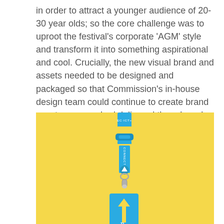in order to attract a younger audience of 20-30 year olds; so the core challenge was to uproot the festival's corporate 'AGM' style and transform it into something aspirational and cool. Crucially, the new visual brand and assets needed to be designed and packaged so that Commission's in-house design team could continue to create brand assets once we had delivered the rebrand.
[Figure (photo): A blue lanyard with yellow stripe accents and text reading 'CONNECT+' and an arrow icon, with a blue badge/keycard attached at the bottom featuring a yellow upward arrow, displayed against a yellow background.]